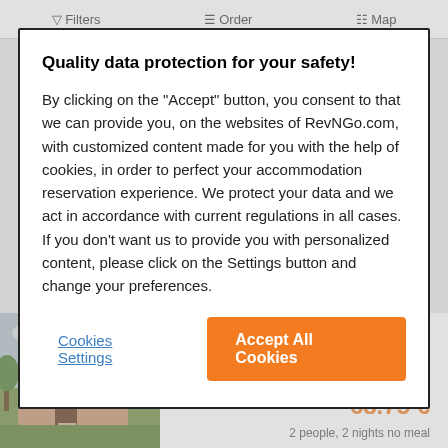Filters   Order   Map
Quality data protection for your safety!
By clicking on the "Accept" button, you consent to that we can provide you, on the websites of RevNGo.com, with customized content made for you with the help of cookies, in order to perfect your accommodation reservation experience. We protect your data and we act in accordance with current regulations in all cases. If you don't want us to provide you with personalized content, please click on the Settings button and change your preferences.
Cookies Settings
Accept All Cookies
[Figure (photo): Photo of Bimbó Vendégház Mezőkövesd, a small residential house with brown roof and courtyard]
Bimbó Vendégház Mezőkövesd
9.8  Excellent - 45 rating
68.75 €
2 people, 2 nights no meal